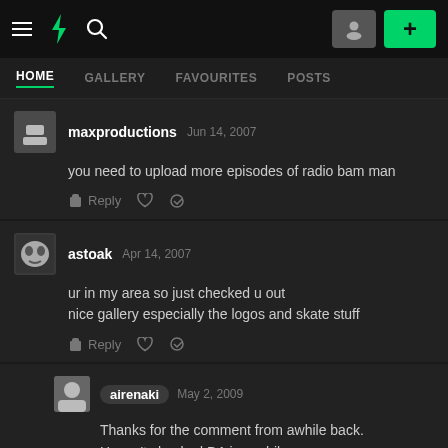HOME | GALLERY | FAVOURITES | POSTS
maxproductions   Jun 14, 2007
you need to upload more episodes of radio bam man
astoak   Apr 14, 2007
ur in my area so just checked u out
nice gallery especially the logos and skate stuff
airenaki   May 2, 2009
Thanks for the comment from awhile back. Haven't checked DA in a while.